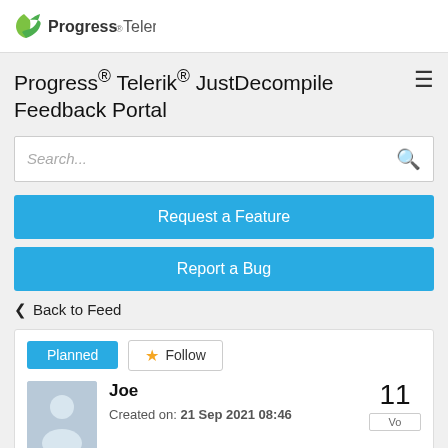Progress Telerik
Progress® Telerik® JustDecompile Feedback Portal
Search...
Request a Feature
Report a Bug
Back to Feed
Planned
Follow
Joe
Created on: 21 Sep 2021 08:46
11